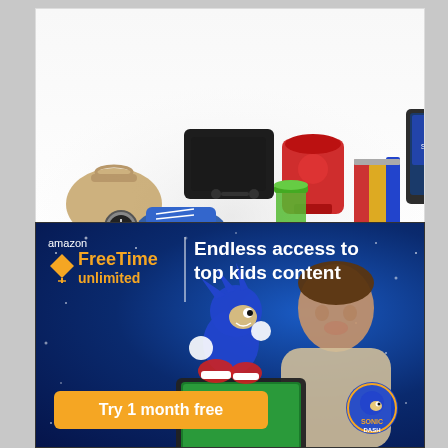[Figure (photo): Amazon advertisement banner showing a collage of products (handbag, sneakers, watch, PlayStation console, KitchenAid mixer, green smoothie, books, Kindle tablets, Star Trek DVD) above the text 'All from Earth's biggest selection.' and the Amazon logo with smile arrow. Privacy label in bottom left corner.]
[Figure (photo): Amazon FreeTime Unlimited advertisement on dark blue starry background. Shows the FreeTime Unlimited logo (orange kite icon, amazon branding), headline 'Endless access to top kids content', a boy holding a tablet with Sonic the Hedgehog jumping out of it, a 'Try 1 month free' orange button, and a Sonic Dash logo badge.]